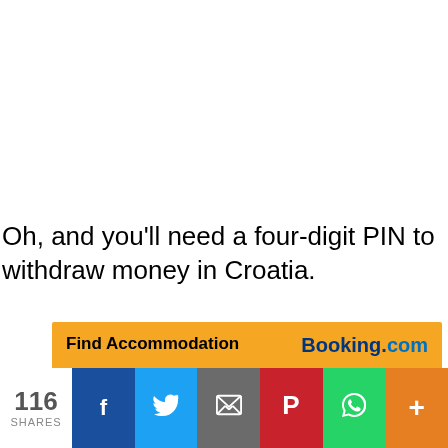Oh, and you'll need a four-digit PIN to withdraw money in Croatia.
[Figure (other): Booking.com advertisement banner: orange background with 'Find Accommodation' in bold, Booking.com logo, and '1,728,000 hotels, apartments, villas +more']
116 SHARES | Facebook | Twitter | Email | Pinterest | WhatsApp | More